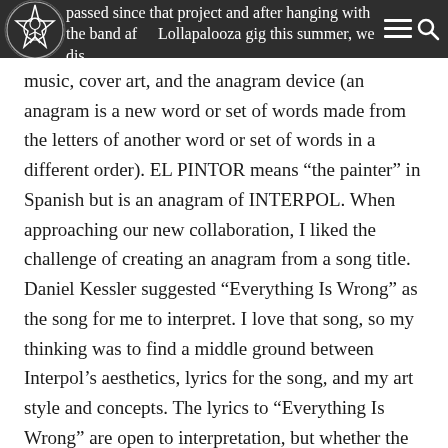passed since that project and after hanging with the band after Lollapalooza gig this summer, we discussed working together again, possibly with a public art component. When “El Pintor” came out I loved the
[Figure (logo): Obey/Shepard Fairey star logo in circular badge design, white on dark background]
music, cover art, and the anagram device (an anagram is a new word or set of words made from the letters of another word or set of words in a different order). EL PINTOR means “the painter” in Spanish but is an anagram of INTERPOL. When approaching our new collaboration, I liked the challenge of creating an anagram from a song title. Daniel Kessler suggested “Everything Is Wrong” as the song for me to interpret. I love that song, so my thinking was to find a middle ground between Interpol’s aesthetics, lyrics for the song, and my art style and concepts. The lyrics to “Everything Is Wrong” are open to interpretation, but whether the song is about hard living, relationship failures, wear and tear on the environment, or an empire mentality, regret for poor decisions seems to be the theme. I decided to